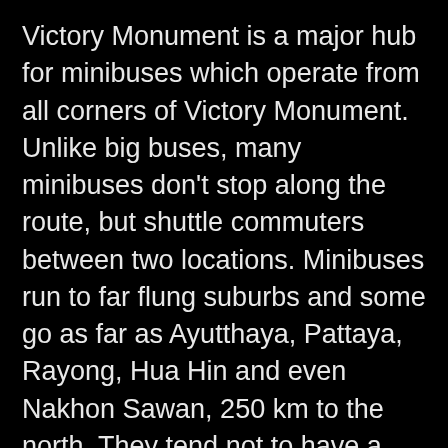Victory Monument is a major hub for minibuses which operate from all corners of Victory Monument. Unlike big buses, many minibuses don't stop along the route, but shuttle commuters between two locations. Minibuses run to far flung suburbs and some go as far as Ayutthaya, Pattaya, Rayong, Hua Hin and even Nakhon Sawan, 250 km to the north. They tend not to have a schedule, and simply depart when full.
For office workers living in affordable, far flung suburbs of the city, minibuses shuttle them to Victory Monument on the expressway from where they can connect with the skytrain and get to their office. What once may have been a 3-hour journey may now be less than 60 minutes.